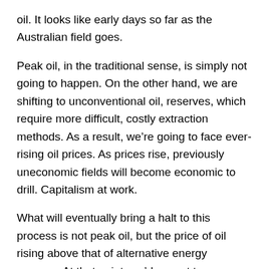oil. It looks like early days so far as the Australian field goes.
Peak oil, in the traditional sense, is simply not going to happen. On the other hand, we are shifting to unconventional oil, reserves, which require more difficult, costly extraction methods. As a result, we're going to face ever-rising oil prices. As prices rise, previously uneconomic fields will become economic to drill. Capitalism at work.
What will eventually bring a halt to this process is not peak oil, but the price of oil rising above that of alternative energy sources. At that point, we'd expect to see a switch. Add in the fact that advancing technology is likely to reduce the cost